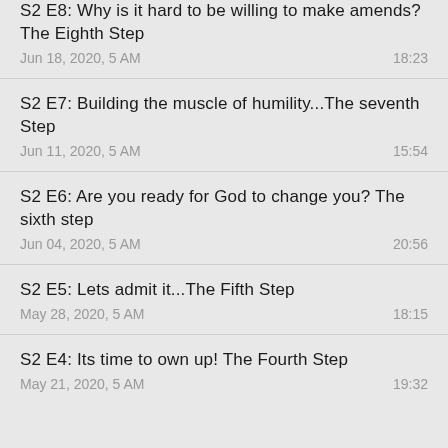S2 E8: Why is it hard to be willing to make amends? The Eighth Step
Jun 18, 2020, 5 AM	18:23
S2 E7: Building the muscle of humility...The seventh Step
Jun 11, 2020, 5 AM	15:54
S2 E6: Are you ready for God to change you? The sixth step
Jun 04, 2020, 5 AM	20:56
S2 E5: Lets admit it...The Fifth Step
May 28, 2020, 5 AM	18:15
S2 E4: Its time to own up! The Fourth Step
May 21, 2020, 5 AM	19:32